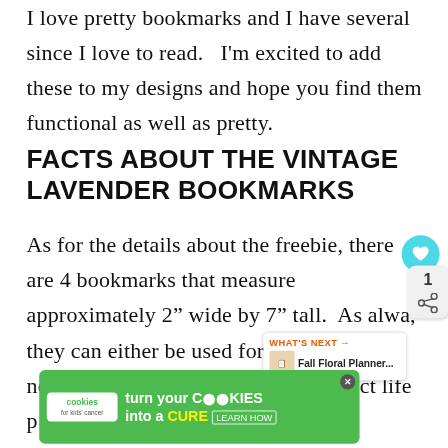I love pretty bookmarks and I have several since I love to read.  I'm excited to add these to my designs and hope you find them functional as well as pretty.
FACTS ABOUT THE VINTAGE LAVENDER BOOKMARKS
As for the details about the freebie, there are 4 bookmarks that measure approximately 2″ wide by 7″ tall.  As alwa, they can either be used for your tr notebook journaling or  in your project life p...